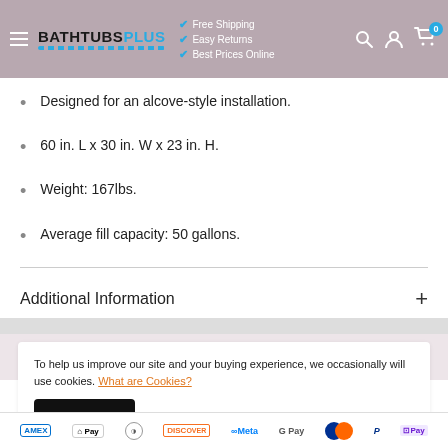BATHTUBS PLUS — Free Shipping, Easy Returns, Best Prices Online
Designed for an alcove-style installation.
60 in. L x 30 in. W x 23 in. H.
Weight: 167lbs.
Average fill capacity: 50 gallons.
Additional Information
To help us improve our site and your buying experience, we occasionally will use cookies. What are Cookies?
Accept